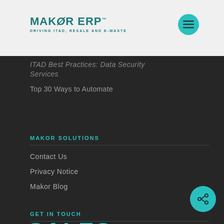[Figure (logo): MAKOR ERP logo with teal text and tagline 'DRIVING ITAD, RESALE AND E-WASTE']
[Figure (other): Teal circular hamburger menu button in top right of header]
ITAD Best Practices: Data Security Services
Top 30 Ways to Automate
MAKOR SOLUTIONS
Contact Us
Privacy Notice
Makor Blog
GET IN TOUCH
SALES
[Figure (other): Teal circular share/connect button in bottom right area]